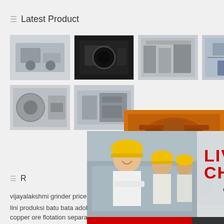Latest Product
[Figure (photo): Four product thumbnail images in a row - industrial machinery]
[Figure (photo): Two product thumbnail images in second row - industrial machinery]
[Figure (photo): Live chat popup overlay with workers in hard hats, LIVE CHAT text, Chat now and Chat later buttons]
[Figure (photo): Orange sidebar with crusher machinery images, Enjoy 3% discount, Click to Chat, Enquiry, and email limingjlmofen@sina.com]
R...
vijayalakshmi grinder price
lini produksi batu bata adobe
copper ore flotation separator
comb cleaning conveyor idler for industrial be... conveyor
jute mill machinery wholesale